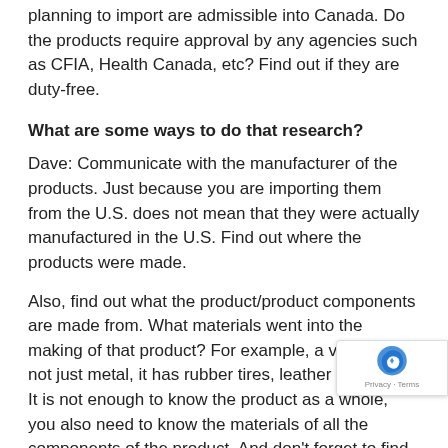planning to import are admissible into Canada. Do the products require approval by any agencies such as CFIA, Health Canada, etc? Find out if they are duty-free.
What are some ways to do that research?
Dave: Communicate with the manufacturer of the products. Just because you are importing them from the U.S. does not mean that they were actually manufactured in the U.S. Find out where the products were made.
Also, find out what the product/product components are made from. What materials went into the making of that product? For example, a vehicle is not just metal, it has rubber tires, leather seats, etc. It is not enough to know the product as a whole, you also need to know the materials of all the components of the product. And don't forget to find out what packaging and shipping materials will be used. Sometimes, it's not the product itself but the packaging materials that can cause a problem.
Can an entrepreneur import without using a broker?
Dave: Yes. An entrepreneur who wants to do the importing